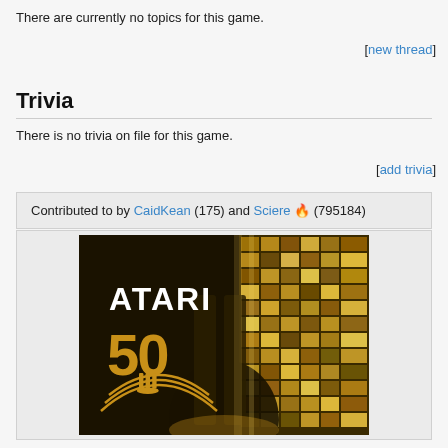There are currently no topics for this game.
[new thread]
Trivia
There is no trivia on file for this game.
[add trivia]
Contributed to by CaidKean (175) and Sciere 🔥 (795184)
[Figure (photo): Atari 50 anniversary promotional image showing ATARI 50 logo in gold on dark background with Atari fuji symbol silhouette and collage of Atari hardware images]